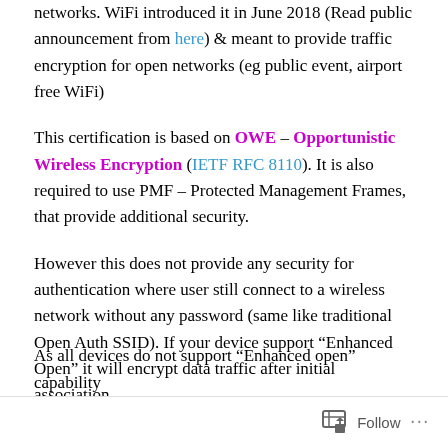networks. WiFi introduced it in June 2018 (Read public announcement from here) & meant to provide traffic encryption for open networks (eg public event, airport free WiFi)
This certification is based on OWE – Opportunistic Wireless Encryption (IETF RFC 8110). It is also required to use PMF – Protected Management Frames, that provide additional security.
However this does not provide any security for authentication where user still connect to a wireless network without any password (same like traditional Open Auth SSID). If your device support “Enhanced Open” it will encrypt data traffic after initial association.
As all devices do not support “Enhanced open” capability
Follow